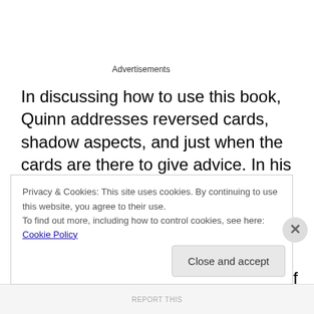Advertisements
In discussing how to use this book, Quinn addresses reversed cards, shadow aspects, and just when the cards are there to give advice. In his presentation of the cards, the deck used is the Rider-Waite. The card presentation begins with a short quote and a black and white scan. There is a discussion of the quality of the card, of where it lies on its line of seven cards, how it relates to the cards
Privacy & Cookies: This site uses cookies. By continuing to use this website, you agree to their use.
To find out more, including how to control cookies, see here: Cookie Policy
Close and accept